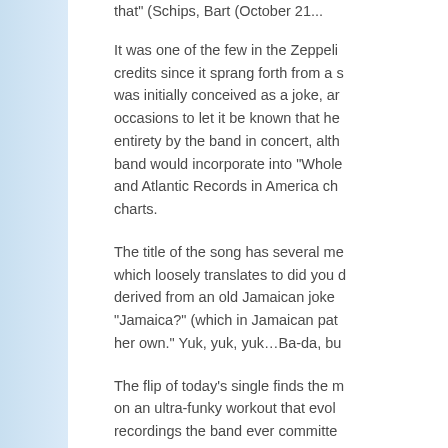that" (Schips, Bart (October 21... It was one of the few in the Zeppelin credits since it sprang forth from a s... was initially conceived as a joke, an... occasions to let it be known that he... entirety by the band in concert, alth... band would incorporate into "Whole... and Atlantic Records in America ch... charts.
The title of the song has several me... which loosely translates to did you d... derived from an old Jamaican joke... "Jamaica?" (which in Jamaican pat... her own." Yuk, yuk, yuk…Ba-da, bu...
The flip of today's single finds the m... on an ultra-funky workout that evolv... recordings the band ever committe... jerky groove with ever-changing tim... Zeppelin recordings.